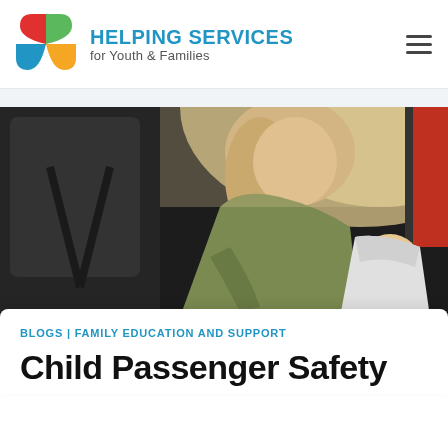[Figure (logo): Helping Services for Youth & Families logo — colorful pinwheel icon with red, green, teal, and orange/yellow sections with small colored dots, next to bold blue text HELPING SERVICES and gray subtitle for Youth & Families]
[Figure (photo): A smiling blonde woman in a green jacket leaning into a car to buckle a baby/toddler into a car seat. Interior of a car visible with black leather seats.]
BLOGS | FAMILY EDUCATION AND SUPPORT
Child Passenger Safety